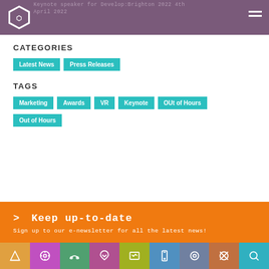Keynote speaker for Develop:Brighton 2022 4th April 2022
CATEGORIES
Latest News
Press Releases
TAGS
Marketing
Awards
VR
Keynote
OUt of Hours
Out of Hours
> Keep up-to-date
Sign up to our e-newsletter for all the latest news!